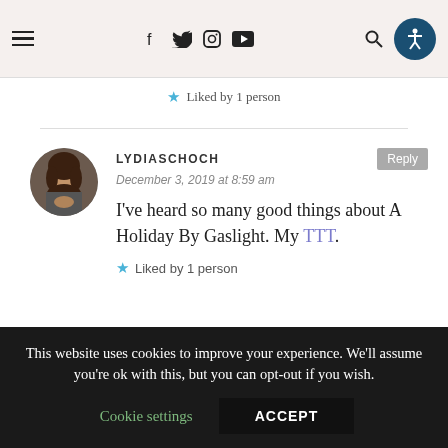Navigation header with hamburger menu, social icons (f, twitter, instagram, youtube), search icon, and accessibility button
Liked by 1 person
LYDIASCHOCH
December 3, 2019 at 8:59 am
I've heard so many good things about A Holiday By Gaslight. My TTT.
Liked by 1 person
This website uses cookies to improve your experience. We'll assume you're ok with this, but you can opt-out if you wish.
Cookie settings  ACCEPT